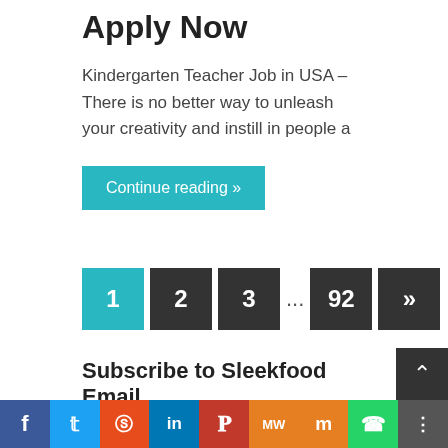Apply Now
Kindergarten Teacher Job in USA – There is no better way to unleash your creativity and instill in people a
Continue reading »
1  2  3  ...  92  »
Subscribe to Sleekfood Email
Enter your email address to subscribe to this blog and receive notifications of new posts by email.